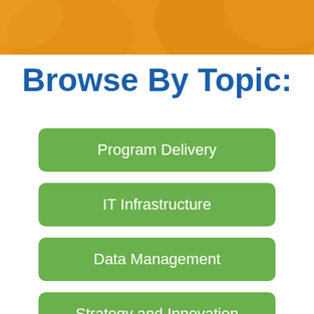[Figure (photo): Orange decorative banner at top of page with subtle texture/pattern]
Browse By Topic:
Program Delivery
IT Infrastructure
Data Management
Strategy and Innovation